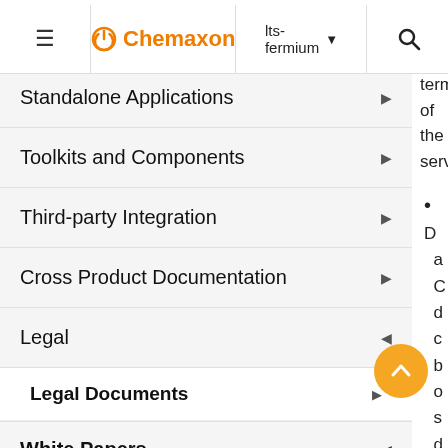Chemaxon — lts-fermium
Standalone Applications
Toolkits and Components
Third-party Integration
Cross Product Documentation
Legal
Legal Documents
White Papers
Chemicalize Security White Paper
Hosted Services Security White ...
termin of the servic
D a C d c b o s d